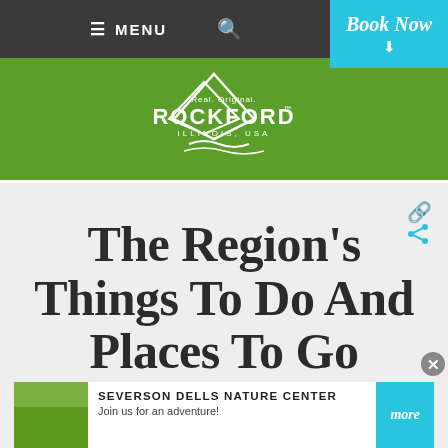≡ MENU  🔍  Book Now
[Figure (logo): Real. Original. Rockford Illinois USA logo on green background with mountain/chevron shape]
THE REGION'S THINGS TO DO AND PLACES TO GO
[Figure (infographic): Advertisement banner: Severson Dells Nature Center - Join us for an adventure! [more] button, with image of people in a field]